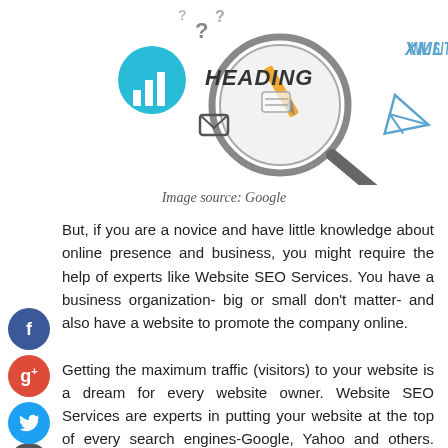[Figure (infographic): SEO infographic showing magnifying glass, heading label, XML sitemap text, various icons including email, chart, and paper airplane on a white background]
Image source: Google
But, if you are a novice and have little knowledge about online presence and business, you might require the help of experts like Website SEO Services. You have a business organization- big or small don't matter- and also have a website to promote the company online.
Getting the maximum traffic (visitors) to your website is a dream for every website owner. Website SEO Services are experts in putting your website at the top of every search engines-Google, Yahoo and others. These service providers' work on the internet marketing device call key words. Key Word(s) are the word(s) a potential client might